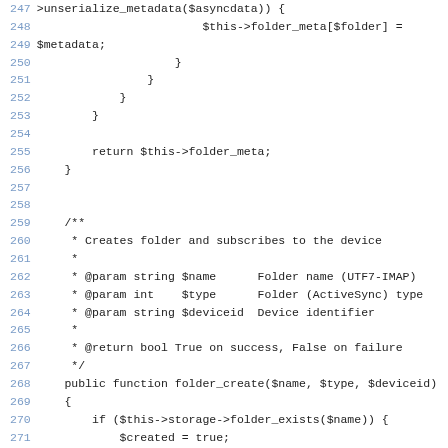[Figure (screenshot): Source code listing (PHP) showing lines 247-284, including folder metadata deserialization, folder_create function with PHPDoc comments, storage checks, and ActiveSync subscription flag setting.]